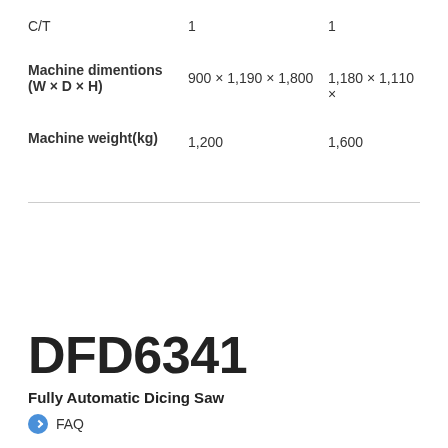|  | Value 1 | Value 2 |
| --- | --- | --- |
| C/T | 1 | 1 |
| Machine dimentions
(W × D × H) | 900 × 1,190 × 1,800 | 1,180 × 1,110 × |
| Machine weight(kg) | 1,200 | 1,600 |
DFD6341
Fully Automatic Dicing Saw
FAQ